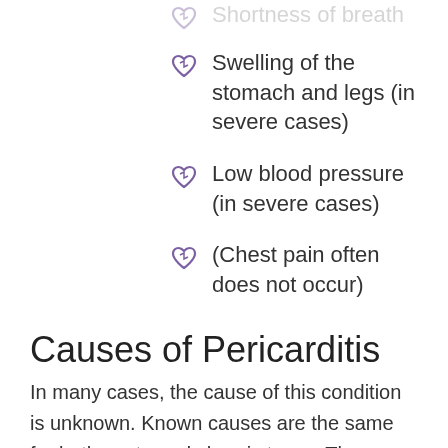Shortness of breath
Swelling of the stomach and legs (in severe cases)
Low blood pressure (in severe cases)
(Chest pain often does not occur)
Causes of Pericarditis
In many cases, the cause of this condition is unknown. Known causes are the same for both acute and chronic types. They include: